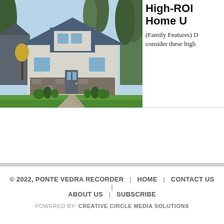[Figure (photo): Exterior photo of a blue craftsman-style two-story home with stone accents, manicured lawn, brick walkway, and surrounding pine trees]
High-ROI Home U
(Family Features) D consider these high
© 2022, PONTE VEDRA RECORDER | HOME | CONTACT US | ABOUT US | SUBSCRIBE
POWERED BY: CREATIVE CIRCLE MEDIA SOLUTIONS